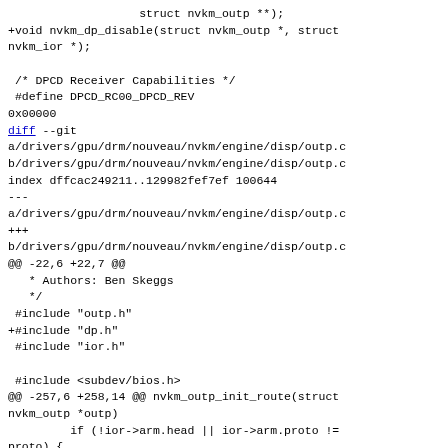struct nvkm_outp **);
+void nvkm_dp_disable(struct nvkm_outp *, struct nvkm_ior *);

 /* DPCD Receiver Capabilities */
 #define DPCD_RC00_DPCD_REV
0x00000
diff --git
a/drivers/gpu/drm/nouveau/nvkm/engine/disp/outp.c
b/drivers/gpu/drm/nouveau/nvkm/engine/disp/outp.c
index dffcac249211..129982fef7ef 100644
---
a/drivers/gpu/drm/nouveau/nvkm/engine/disp/outp.c
+++
b/drivers/gpu/drm/nouveau/nvkm/engine/disp/outp.c
@@ -22,6 +22,7 @@
   * Authors: Ben Skeggs
   */
 #include "outp.h"
+#include "dp.h"
 #include "ior.h"

 #include <subdev/bios.h>
@@ -257,6 +258,14 @@ nvkm_outp_init_route(struct nvkm_outp *outp)
         if (!ior->arm.head || ior->arm.proto !=
proto) {
                OUTP_DBG(outp, "no heads (%x %d
%d)", ior->arm.head,
                    ior->arm.proto, proto);